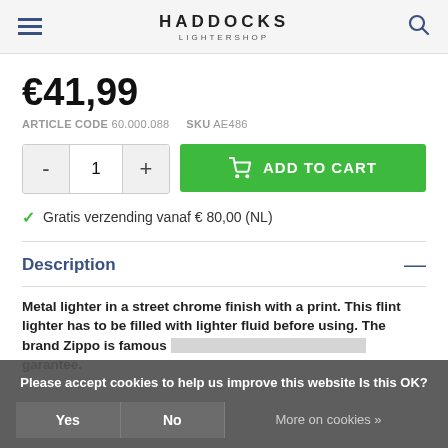HADDOCKS LIGHTERSHOP
€41,99
ARTICLE CODE 60.000.088   SKU AE486
[Figure (other): Quantity selector with minus and plus buttons showing value 1, and a green Add to Cart button with shopping cart icon]
Gratis verzending vanaf € 80,00 (NL)
Description
Metal lighter in a street chrome finish with a print. This flint lighter has to be filled with lighter fluid before using. The brand Zippo is famous about their quality and lifetime garantee.
Please accept cookies to help us improve this website Is this OK?  Yes  No  More on cookies »